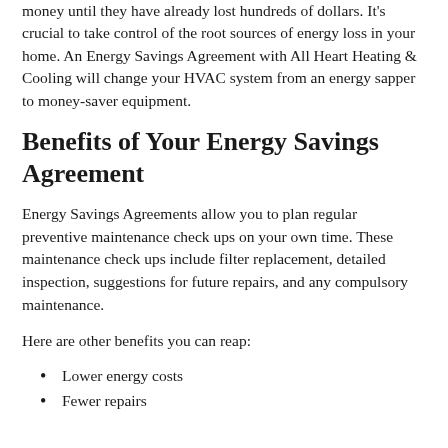money until they have already lost hundreds of dollars. It's crucial to take control of the root sources of energy loss in your home. An Energy Savings Agreement with All Heart Heating & Cooling will change your HVAC system from an energy sapper to money-saver equipment.
Benefits of Your Energy Savings Agreement
Energy Savings Agreements allow you to plan regular preventive maintenance check ups on your own time. These maintenance check ups include filter replacement, detailed inspection, suggestions for future repairs, and any compulsory maintenance.
Here are other benefits you can reap:
Lower energy costs
Fewer repairs